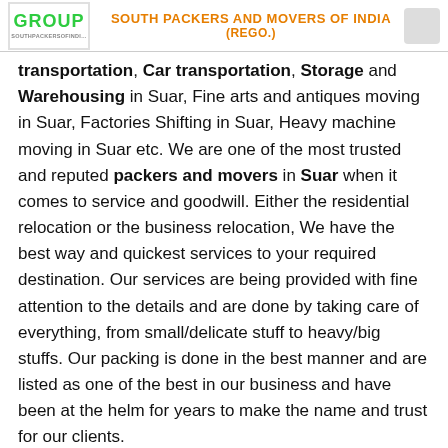GROUP | SOUTH PACKERS AND MOVERS OF INDIA (REGO.)
transportation, Car transportation, Storage and Warehousing in Suar, Fine arts and antiques moving in Suar, Factories Shifting in Suar, Heavy machine moving in Suar etc. We are one of the most trusted and reputed packers and movers in Suar when it comes to service and goodwill. Either the residential relocation or the business relocation, We have the best way and quickest services to your required destination. Our services are being provided with fine attention to the details and are done by taking care of everything, from small/delicate stuff to heavy/big stuffs. Our packing is done in the best manner and are listed as one of the best in our business and have been at the helm for years to make the name and trust for our clients.
Request A Quote